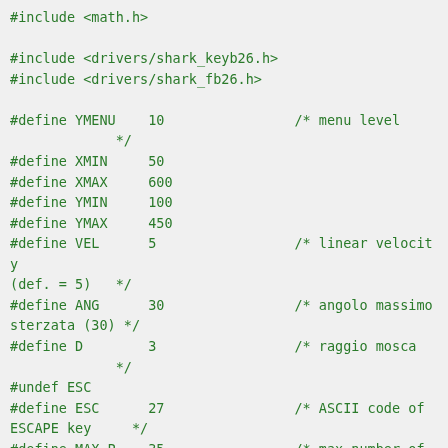#include <math.h>

#include <drivers/shark_keyb26.h>
#include <drivers/shark_fb26.h>

#define YMENU    10                /* menu level
             */
#define XMIN     50
#define XMAX     600
#define YMIN     100
#define YMAX     450
#define VEL      5                /* linear velocity
(def. = 5)   */
#define ANG      30                /* angolo massimo
sterzata (30) */
#define D        3                /* raggio mosca
             */
#undef ESC
#define ESC      27                /* ASCII code of
ESCAPE key     */
#define MAX_P    35                /* max number of
flies          */
#define FLYGROUP 1

double  tick = 1.0;               /* system tick = 1
ms           */
int     fly_period = 40000;       /* task period